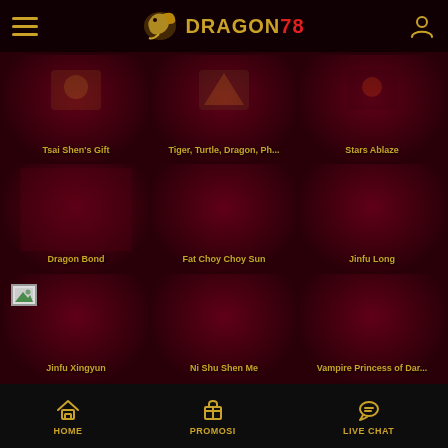DRAGON78 - navigation header with hamburger menu and user icon
[Figure (screenshot): Game card: Tsai Shen's Gift]
Tsai Shen's Gift
[Figure (screenshot): Game card: Tiger, Turtle, Dragon, Ph...]
Tiger, Turtle, Dragon, Ph...
[Figure (screenshot): Game card: Stars Ablaze]
Stars Ablaze
[Figure (screenshot): Game card: Dragon Bond]
Dragon Bond
[Figure (screenshot): Game card: Fat Choy Choy Sun]
Fat Choy Choy Sun
[Figure (screenshot): Game card: Jinfu Long]
Jinfu Long
[Figure (screenshot): Game card: Jinfu Xingyun (with broken image icon)]
Jinfu Xingyun
[Figure (screenshot): Game card: Ni Shu Shen Me]
Ni Shu Shen Me
[Figure (screenshot): Game card: Vampire Princess of Dar...]
Vampire Princess of Dar...
HOME | PROMOSI | LIVE CHAT